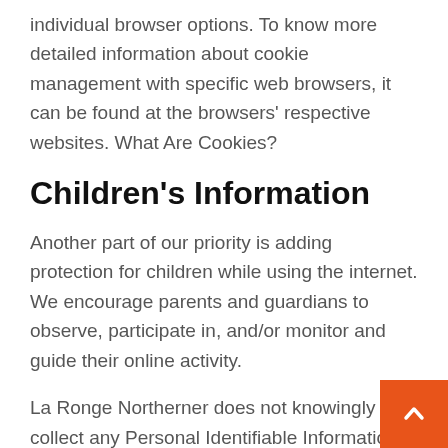individual browser options. To know more detailed information about cookie management with specific web browsers, it can be found at the browsers' respective websites. What Are Cookies?
Children's Information
Another part of our priority is adding protection for children while using the internet. We encourage parents and guardians to observe, participate in, and/or monitor and guide their online activity.
La Ronge Northerner does not knowingly collect any Personal Identifiable Information from children under the age of 13. If you think that your child provided this kind of information on our website, we strongly encourage you to Contact immediately and we will do our best efforts to promptly remove such information